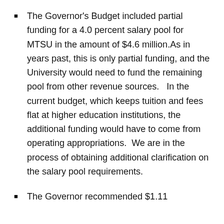The Governor's Budget included partial funding for a 4.0 percent salary pool for MTSU in the amount of $4.6 million.As in years past, this is only partial funding, and the University would need to fund the remaining pool from other revenue sources.   In the current budget, which keeps tuition and fees flat at higher education institutions, the additional funding would have to come from operating appropriations.  We are in the process of obtaining additional clarification on the salary pool requirements.
The Governor recommended $1.11